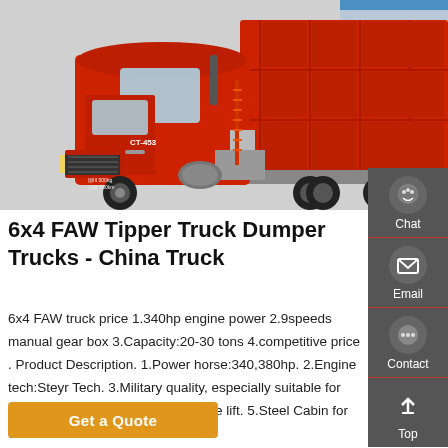[Figure (photo): Red FAW 6x4 tipper/dumper truck photographed from the side, showing the cab on the left and the large red dump body on the right, with a grey/industrial background.]
6x4 FAW Tipper Truck Dumper Trucks - China Truck
6x4 FAW truck price 1.340hp engine power 2.9speeds manual gear box 3.Capacity:20-30 tons 4.competitive price . Product Description. 1.Power horse:340,380hp. 2.Engine tech:Steyr Tech. 3.Military quality, especially suitable for rugged ground. 4.Front lift or middle lift. 5.Steel Cabin for comfortable drive
Get a Quote